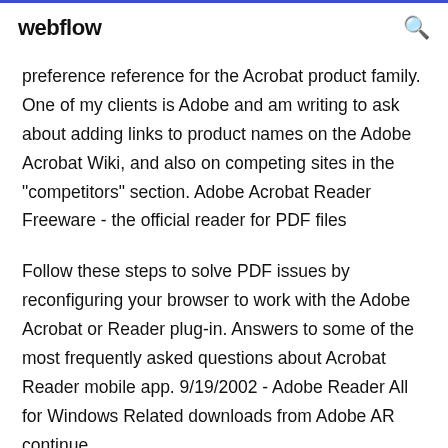webflow
preference reference for the Acrobat product family. One of my clients is Adobe and am writing to ask about adding links to product names on the Adobe Acrobat Wiki, and also on competing sites in the "competitors" section. Adobe Acrobat Reader Freeware - the official reader for PDF files
Follow these steps to solve PDF issues by reconfiguring your browser to work with the Adobe Acrobat or Reader plug-in. Answers to some of the most frequently asked questions about Acrobat Reader mobile app. 9/19/2002 - Adobe Reader All for Windows Related downloads from Adobe AR continue...